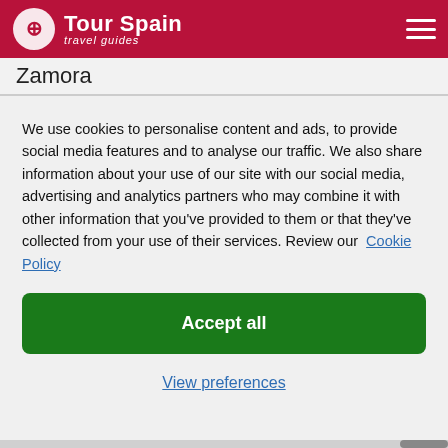Tour Spain travel guides
Zamora
We use cookies to personalise content and ads, to provide social media features and to analyse our traffic. We also share information about your use of our site with our social media, advertising and analytics partners who may combine it with other information that you’ve provided to them or that they’ve collected from your use of their services. Review our Cookie Policy
Accept all
View preferences